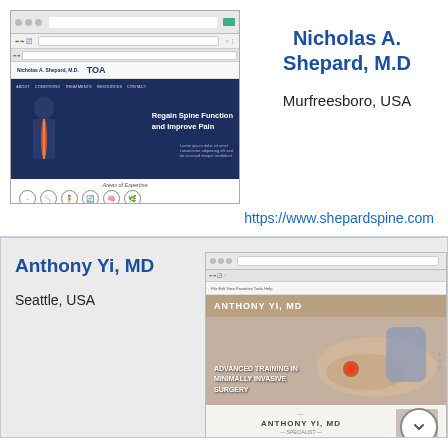[Figure (screenshot): Screenshot of Nicholas A. Shepard M.D. website on TOA platform, showing spine-related medical practice with 'Regain Spine Function and Improve Pain' hero text and Areas of Expertise icons]
Nicholas A. Shepard, M.D
Murfreesboro, USA
https://www.shepardspine.com
Anthony Yi, MD
Seattle, USA
[Figure (screenshot): Screenshot of Anthony Yi MD website showing foot/ankle surgery with 'ADVANCED TRAINING IN MINIMALLY INVASIVE SURGERY' text and doctor profile photo at bottom]